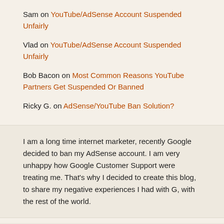Sam on YouTube/AdSense Account Suspended Unfairly
Vlad on YouTube/AdSense Account Suspended Unfairly
Bob Bacon on Most Common Reasons YouTube Partners Get Suspended Or Banned
Ricky G. on AdSense/YouTube Ban Solution?
I am a long time internet marketer, recently Google decided to ban my AdSense account. I am very unhappy how Google Customer Support were treating me. That's why I decided to create this blog, to share my negative experiences I had with G, with the rest of the world.
Categories
AdSense Alternatives